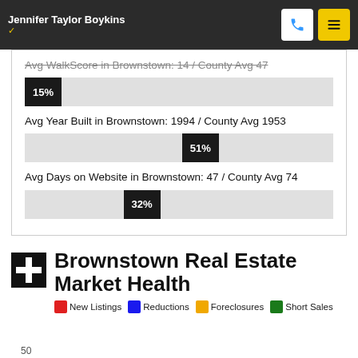Jennifer Taylor Boykins
Avg WalkScore in Brownstown: 14 / County Avg 47
15%
Avg Year Built in Brownstown: 1994 / County Avg 1953
51%
Avg Days on Website in Brownstown: 47 / County Avg 74
32%
Brownstown Real Estate Market Health
New Listings  Reductions  Foreclosures  Short Sales
50